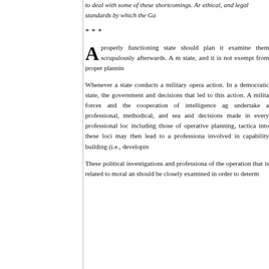to deal with some of these shortcomings. Ar ethical, and legal standards by which the Ga
***
A properly functioning state should plan it examine them scrupulously afterwards. A m state, and it is not exempt from proper plannin
Whenever a state conducts a military opera action. In a democratic state, the government and decisions that led to this action. A milita forces and the cooperation of intelligence ag undertake a professional, methodical, and sea and decisions made in every professional loc including those of operative planning, tactica into these loci may then lead to a professiona involved in capability building (i.e., developin
These political investigations and professiona of the operation that is related to moral an should be closely examined in order to determ